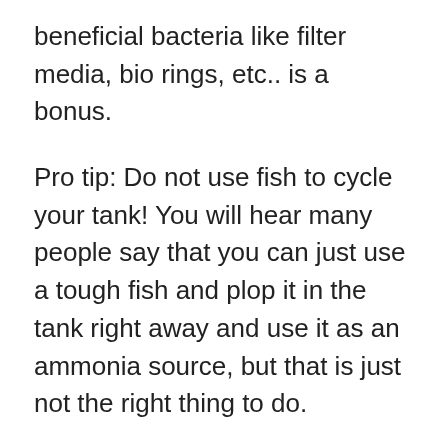beneficial bacteria like filter media, bio rings, etc.. is a bonus.
Pro tip: Do not use fish to cycle your tank! You will hear many people say that you can just use a tough fish and plop it in the tank right away and use it as an ammonia source, but that is just not the right thing to do.
Fish can add an ammonia source that is too much for your tank at first, cause levels to spike, and can be a disaster. Not to mention it is very stressful and harmful to the fish. After adding an ammonia source like rotting